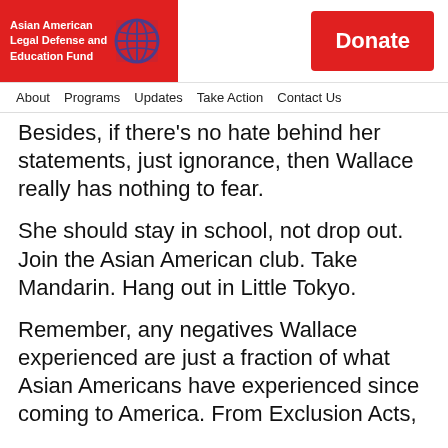[Figure (logo): Asian American Legal Defense and Education Fund logo — red background with white text and circular globe icon in purple/dark blue]
Donate
About  Programs  Updates  Take Action  Contact Us
Besides, if there's no hate behind her statements, just ignorance, then Wallace really has nothing to fear.
She should stay in school, not drop out. Join the Asian American club. Take Mandarin. Hang out in Little Tokyo.
Remember, any negatives Wallace experienced are just a fraction of what Asian Americans have experienced since coming to America. From Exclusion Acts, to anti-miscegenation laws, to internment